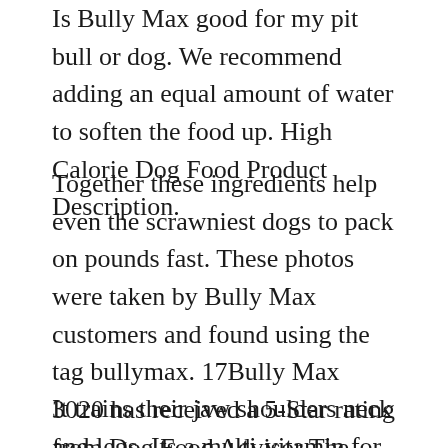Is Bully Max good for my pit bull or dog. We recommend adding an equal amount of water to soften the food up. High Calorie Dog Food Product Description.
Together these ingredients help even the scrawniest dogs to pack on pounds fast. These photos were taken by Bully Max customers and found using the tag bullymax. 17Bully Max 3020 has received a 5-Star rating from Dog Food Advisor The most trusted 3rd party dog food reviewer.
It trains their jaw shoulders neck and legs. Its a multi-vitamin for dogs. Bully Max muscle